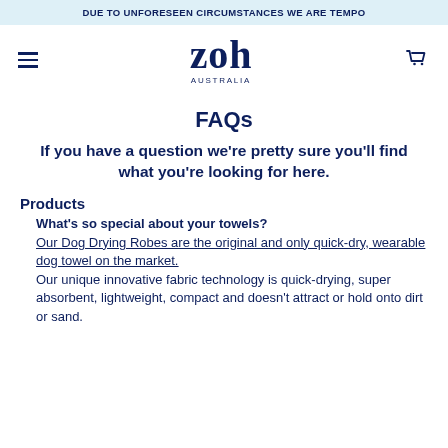DUE TO UNFORESEEN CIRCUMSTANCES WE ARE TEMPO
[Figure (logo): Zoh Australia logo with hamburger menu and cart icon]
FAQs
If you have a question we're pretty sure you'll find what you're looking for here.
Products
What's so special about your towels?
Our Dog Drying Robes are the original and only quick-dry, wearable dog towel on the market. Our unique innovative fabric technology is quick-drying, super absorbent, lightweight, compact and doesn't attract or hold onto dirt or sand.